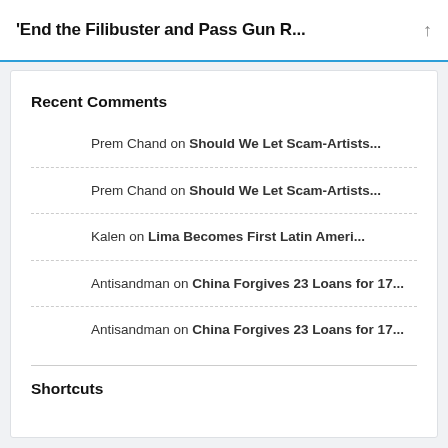'End the Filibuster and Pass Gun R...
Recent Comments
Prem Chand on Should We Let Scam-Artists...
Prem Chand on Should We Let Scam-Artists...
Kalen on Lima Becomes First Latin Ameri...
Antisandman on China Forgives 23 Loans for 17...
Antisandman on China Forgives 23 Loans for 17...
Shortcuts